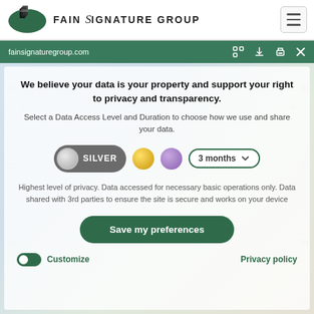FAIN SIGNATURE GROUP
fainsignaturegroup.com
We believe your data is your property and support your right to privacy and transparency.
Select a Data Access Level and Duration to choose how we use and share your data.
SILVER  3 months
Highest level of privacy. Data accessed for necessary basic operations only. Data shared with 3rd parties to ensure the site is secure and works on your device
Save my preferences
Customize   Privacy policy